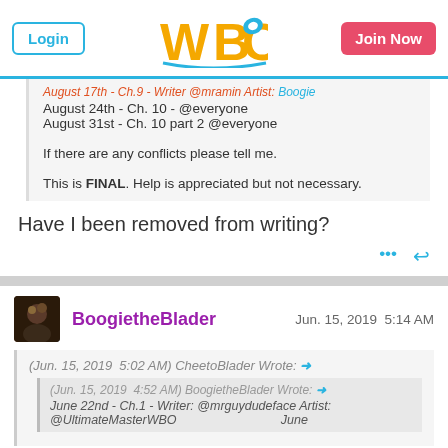Login | WBO | Join Now
August 17th - Ch.9 - Writer: @mramin Artist: Boogie
August 24th - Ch. 10 - @everyone
August 31st - Ch. 10 part 2 @everyone

If there are any conflicts please tell me.

This is FINAL. Help is appreciated but not necessary.
Have I been removed from writing?
BoogietheBlader  Jun. 15, 2019  5:14 AM
(Jun. 15, 2019  5:02 AM) CheetoBlader Wrote: →
(Jun. 15, 2019  4:52 AM) BoogietheBlader Wrote: →
June 22nd - Ch.1 - Writer: @mrguydudeface Artist: @UltimateMasterWBO  June